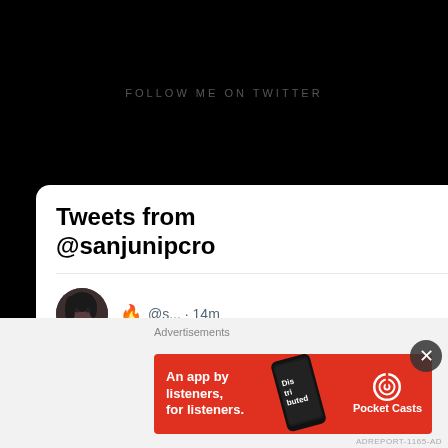FOLLOW ME ON TWITTER
Tweets from @sanjunipcro
@s... · 14m
wait this is ghost has sounded like this entire time? and no one told me?????
open.spotify.com/track/2HZLXBOn...
Advertisements
[Figure (screenshot): Pocket Casts advertisement banner: 'An app by listeners, for listeners.' with phone graphic and Pocket Casts logo on red background]